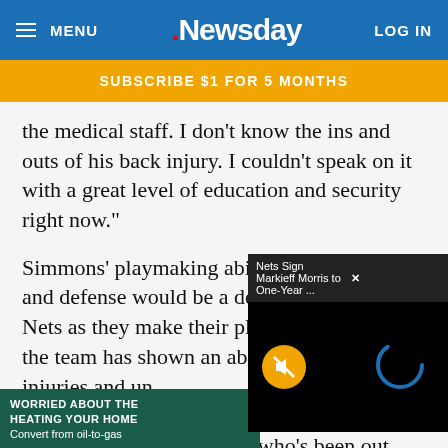MENU | Newsday | LOG IN
SUBSCRIBE $1 FOR 5 MONTHS
the medical staff. I don't know the ins and outs of his back injury. I couldn't speak on it with a great level of education and security right now."
Simmons' playmaking ability, ballhandling and defense would be a definite boost to the Nets as they make their playoff push, though the team has shown an ability to adapt to injuries and un... Kyrie Irving at home, (b... protracted absence wit... Harris, who's been out ... surgery
[Figure (screenshot): Video popup overlay showing 'Nets Sign Markieff Morris to One-Year ...' title bar with close button, black video area with yellow mute button and blue loading spinner]
WORRIED ABOUT THE HEATING YOUR HOME Convert from oil-to-gas